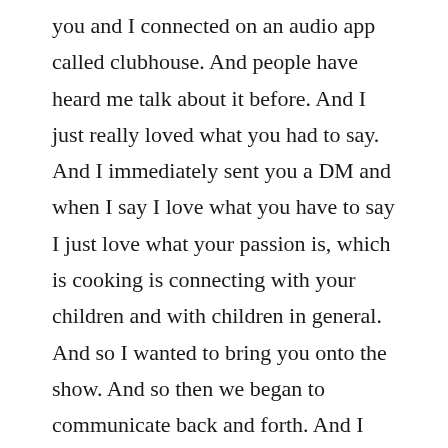you and I connected on an audio app called clubhouse. And people have heard me talk about it before. And I just really loved what you had to say. And I immediately sent you a DM and when I say I love what you have to say I just love what your passion is, which is cooking is connecting with your children and with children in general. And so I wanted to bring you onto the show. And so then we began to communicate back and forth. And I just was like this is going to be one of our aces in this childhood trauma focus. So you have found a way and a very effective way and practical I might add to build connection with children with or without trauma, right? This is a trauma podcast. But with or without trauma, you